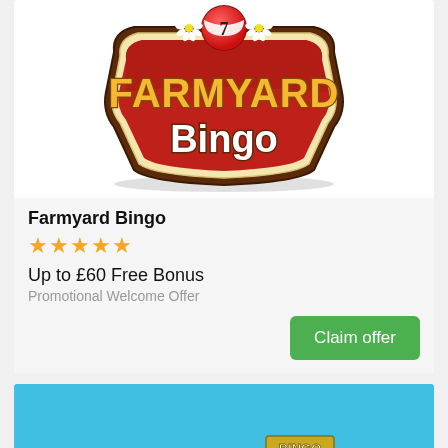[Figure (logo): Farmyard Bingo logo: red badge shape with golden text 'FARMYARD' and white text 'Bingo', bingo ball with number 7 on top, daisy flowers decorating]
Farmyard Bingo
★★★★★
Up to £60 Free Bonus
Promotional Welcome Offer
Claim offer
[Figure (logo): Giant Bingo logo on a sky blue background with 3D stone-effect letters spelling GIANT and smaller text 'BINGO' with green vine decorations]